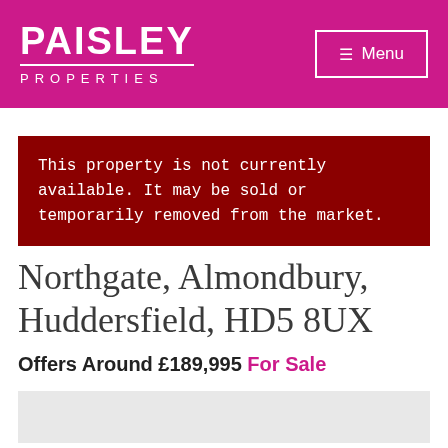PAISLEY PROPERTIES
This property is not currently available. It may be sold or temporarily removed from the market.
Northgate, Almondbury, Huddersfield, HD5 8UX
Offers Around £189,995 For Sale
[Figure (photo): Property image placeholder (light grey area)]